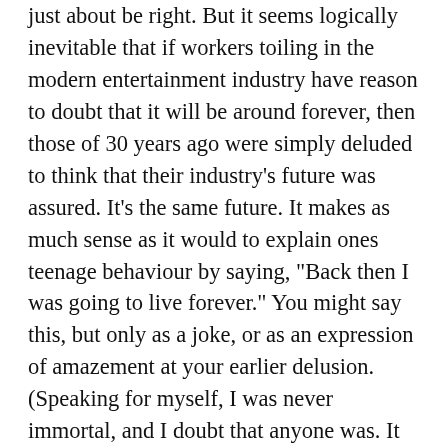just about be right. But it seems logically inevitable that if workers toiling in the modern entertainment industry have reason to doubt that it will be around forever, then those of 30 years ago were simply deluded to think that their industry’s future was assured. It’s the same future. It makes as much sense as it would to explain ones teenage behaviour by saying, “Back then I was going to live forever.” You might say this, but only as a joke, or as an expression of amazement at your earlier delusion. (Speaking for myself, I was never immortal, and I doubt that anyone was. It looks to me as though teenagers may not care about the consequences of their actions, for reasons good and bad, and they may have difficulty inhibiting their impulses if they do care, but